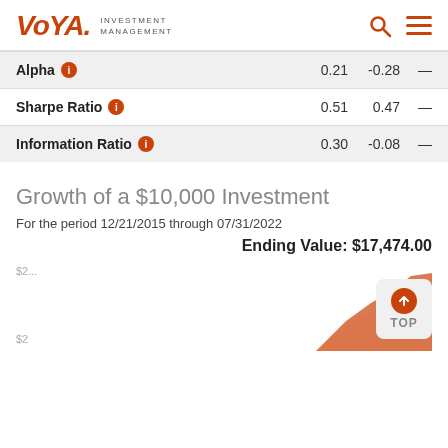VOYA. INVESTMENT MANAGEMENT
| Metric | Value1 | Value2 | Value3 |
| --- | --- | --- | --- |
| Alpha | 0.21 | -0.28 | — |
| Sharpe Ratio | 0.51 | 0.47 | — |
| Information Ratio | 0.30 | -0.08 | — |
Growth of a $10,000 Investment
For the period 12/21/2015 through 07/31/2022
Ending Value: $17,474.00
[Figure (continuous-plot): Growth of a $10,000 investment line/area chart from 12/21/2015 through 07/31/2022, y-axis labels partially visible ($2... top, $2 bottom)]